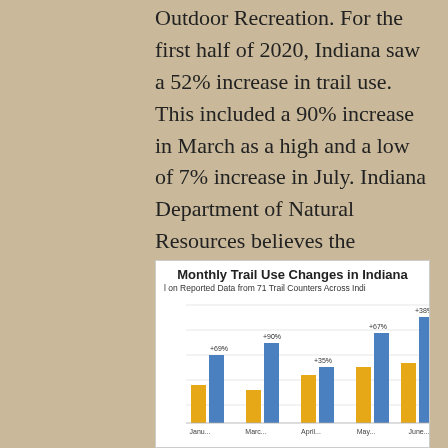Outdoor Recreation. For the first half of 2020, Indiana saw a 52% increase in trail use. This included a 90% increase in March as a high and a low of 7% increase in July. Indiana Department of Natural Resources believes the increase in trail use is due to the COVID-19 pandemic as people seek a safe outlet for physical activity and mental respite. Click here to learn more.
[Figure (grouped-bar-chart): Monthly Trail Use Changes in Indiana]